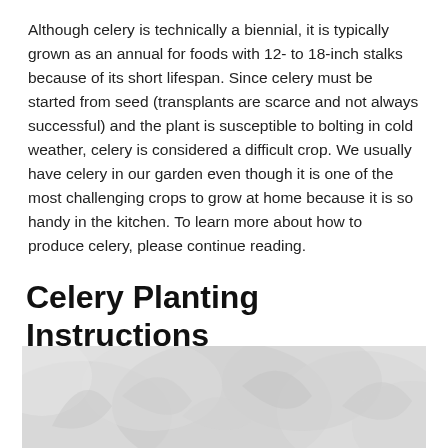Although celery is technically a biennial, it is typically grown as an annual for foods with 12- to 18-inch stalks because of its short lifespan. Since celery must be started from seed (transplants are scarce and not always successful) and the plant is susceptible to bolting in cold weather, celery is considered a difficult crop. We usually have celery in our garden even though it is one of the most challenging crops to grow at home because it is so handy in the kitchen. To learn more about how to produce celery, please continue reading.
Celery Planting Instructions
[Figure (photo): A photograph of celery plants, showing leafy green stalks, displayed in muted/light tones.]